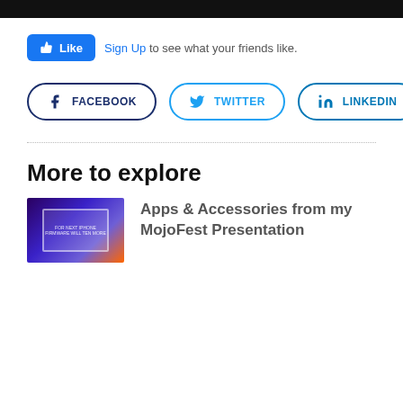[Figure (screenshot): Black header bar at top of page]
[Figure (screenshot): Facebook Like button widget with 'Sign Up to see what your friends like.' text]
[Figure (screenshot): Social share buttons: Facebook, Twitter, LinkedIn]
More to explore
[Figure (photo): Thumbnail photo with purple/blue stage background and a presenter screen with text]
Apps & Accessories from my MojoFest Presentation